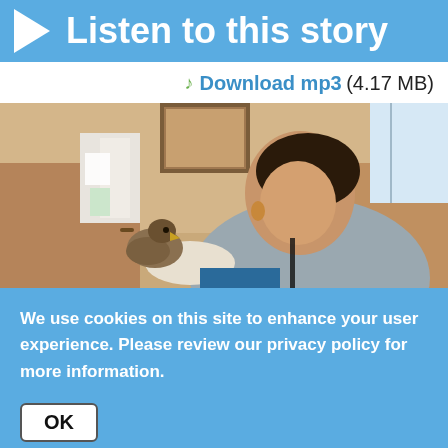Listen to this story
Download mp3 (4.17 MB)
[Figure (photo): A smiling woman holding a bird of prey (hawk or falcon) on her gloved hand inside an indoor room with cabinets and papers on the wall.]
We use cookies on this site to enhance your user experience. Please review our privacy policy for more information.
OK